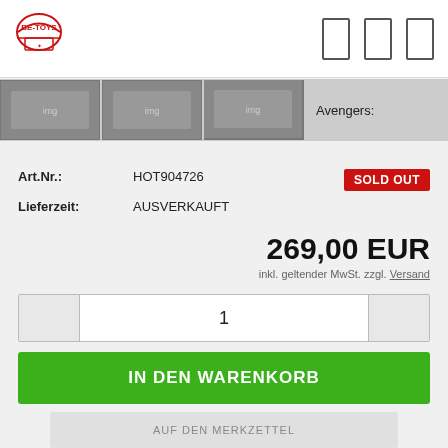[Figure (logo): BE-TOYS circular logo in red]
[Figure (photo): Strip of product thumbnail images showing toy items with text 'Avengers:']
Art.Nr.: HOT904726
SOLD OUT
Lieferzeit: AUSVERKAUFT
269,00 EUR
inkl. geltender MwSt. zzgl. Versand
1
IN DEN WARENKORB
AUF DEN MERKZETTEL
FRAGE ZUM PRODUKT